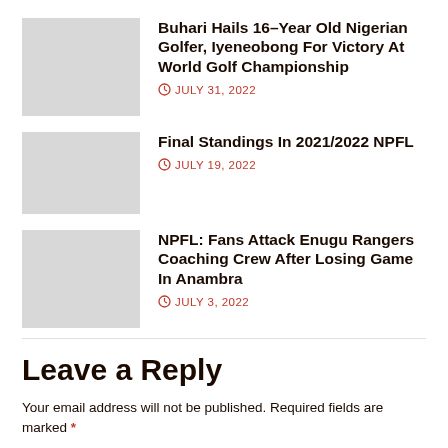[Figure (photo): Thumbnail image placeholder for Buhari Hails article]
Buhari Hails 16-Year Old Nigerian Golfer, Iyeneobong For Victory At World Golf Championship
JULY 31, 2022
[Figure (photo): Thumbnail image placeholder for Final Standings article]
Final Standings In 2021/2022 NPFL
JULY 19, 2022
[Figure (photo): Thumbnail image placeholder for NPFL Fans Attack article]
NPFL: Fans Attack Enugu Rangers Coaching Crew After Losing Game In Anambra
JULY 3, 2022
Leave a Reply
Your email address will not be published. Required fields are marked *